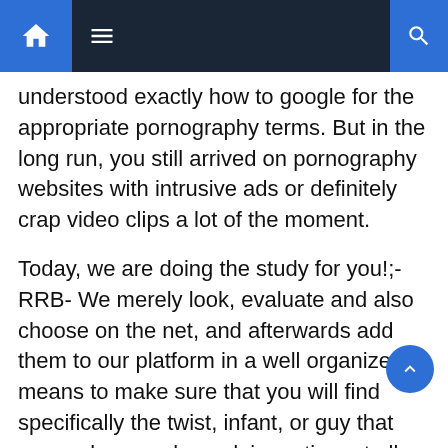Navigation bar with home, menu, and search icons
understood exactly how to google for the appropriate pornography terms. But in the long run, you still arrived on pornography websites with intrusive ads or definitely crap video clips a lot of the moment.
Today, we are doing the study for you!;-RRB- We merely look, evaluate and also choose on the net, and afterwards add them to our platform in a well organized means to make sure that you will find specifically the twist, infant, or guy that can make you pleased, in no time at all. This way, you only obtain to see xxx sites with the very best porn videos and also photos; without invasive advertisements and also malware.
From teasing softcore and artistic movies to the most harsh BDSM torment sessions, you will certainly discover the ideal website. We also concentrate on bringing you leading porn